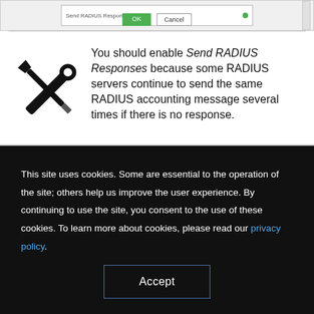[Figure (screenshot): Dialog box screenshot with a text field showing 'Send RADIUS Responses', a green status indicator dot, a scrollbar, and OK/Cancel buttons]
You should enable Send RADIUS Responses because some RADIUS servers continue to send the same RADIUS accounting message several times if there is no response.
This site uses cookies. Some are essential to the operation of the site; others help us improve the user experience. By continuing to use the site, you consent to the use of these cookies. To learn more about cookies, please read our privacy policy.
Accept